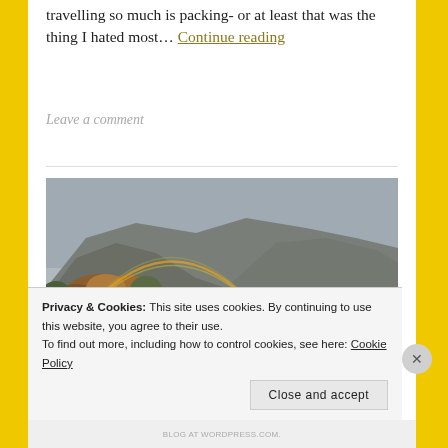travelling so much is packing- or at least that was the thing I hated most… Continue reading
Leave a comment
[Figure (photo): Landscape photograph showing mountains under an overcast sky with a rainbow visible on the left side, autumn trees in the foreground, and a lake in the middle ground.]
Privacy & Cookies: This site uses cookies. By continuing to use this website, you agree to their use. To find out more, including how to control cookies, see here: Cookie Policy
Close and accept